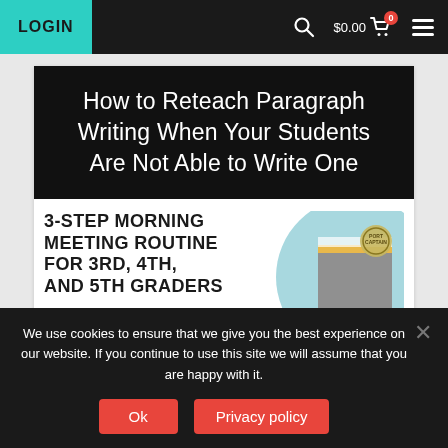LOGIN  $0.00
How to Reteach Paragraph Writing When Your Students Are Not Able to Write One
[Figure (illustration): Partial view of a '3-Step Morning Meeting Routine for 3rd, 4th, and 5th Graders' product cover with a light blue circular graphic, gray rectangle, and yellow stripe, plus a small logo stamp.]
3-STEP MORNING MEETING ROUTINE FOR 3RD, 4TH, AND 5TH GRADERS
We use cookies to ensure that we give you the best experience on our website. If you continue to use this site we will assume that you are happy with it.
Ok
Privacy policy